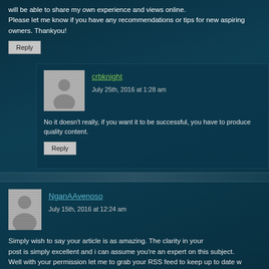will be able to share my own experience and views online.
Please let me know if you have any recommendations or tips for new aspiring owners. Thankyou!
Reply
crbknight
July 25th, 2016 at 1:28 am
No it doesn't really, if you want it to be successful, you have to produce quality content.
Reply
NganAAvenoso
July 15th, 2016 at 12:24 am
Simply wish to say your article is as amazing. The clarity in your post is simply excellent and i can assume you're an expert on this subject. Well with your permission let me to grab your RSS feed to keep up to date w... Thanks a million and please continue the rewarding work.